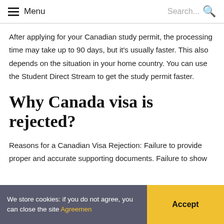Menu  Search...
After applying for your Canadian study permit, the processing time may take up to 90 days, but it's usually faster. This also depends on the situation in your home country. You can use the Student Direct Stream to get the study permit faster.
Why Canada visa is rejected?
Reasons for a Canadian Visa Rejection: Failure to provide proper and accurate supporting documents. Failure to show
We store cookies: if you do not agree, you can close the site Agreemen
Accept